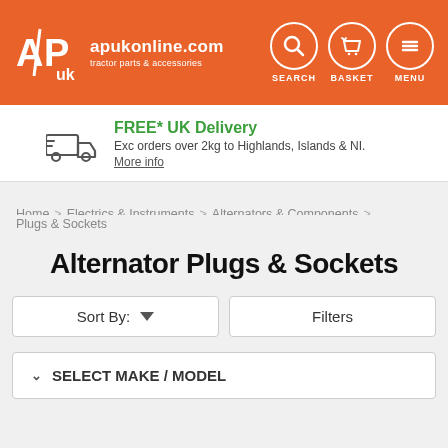[Figure (logo): AP UK logo with orange background, white AP stylized letters, site name apukonline.com and tagline tractor parts & accessories. Header also shows SEARCH, BASKET, and MENU icon buttons.]
FREE* UK Delivery
Exc orders over 2kg to Highlands, Islands & NI.
More info
Home > Electrics & Instruments > Alternators & Components > Plugs & Sockets
Alternator Plugs & Sockets
Sort By: ▼
Filters
∨  SELECT MAKE / MODEL